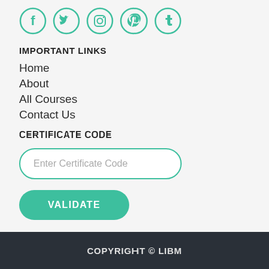[Figure (other): Row of five teal social media icon circles: Facebook, Twitter, Instagram, Pinterest, Tumblr]
IMPORTANT LINKS
Home
About
All Courses
Contact Us
CERTIFICATE CODE
Enter Certificate Code
VALIDATE
COPYRIGHT © LIBM